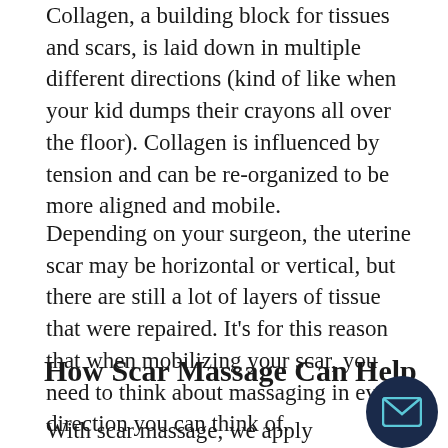Collagen, a building block for tissues and scars, is laid down in multiple different directions (kind of like when your kid dumps their crayons all over the floor). Collagen is influenced by tension and can be re-organized to be more aligned and mobile.
Depending on your surgeon, the uterine scar may be horizontal or vertical, but there are still a lot of layers of tissue that were repaired. It’s for this reason that when mobilizing your scar, you need to think about massaging in every direction you can think of.
How Scar Massage Can Help
With scar massage, we apply gentle forc…